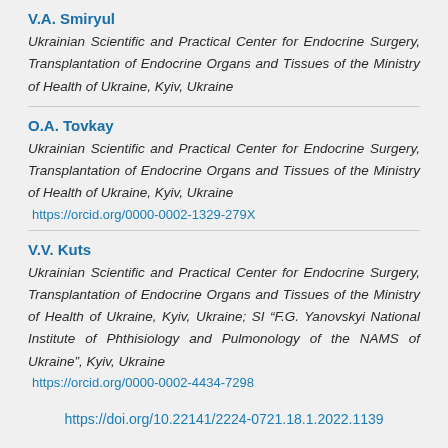V.A. Smiryul
Ukrainian Scientific and Practical Center for Endocrine Surgery, Transplantation of Endocrine Organs and Tissues of the Ministry of Health of Ukraine, Kyiv, Ukraine
O.A. Tovkay
Ukrainian Scientific and Practical Center for Endocrine Surgery, Transplantation of Endocrine Organs and Tissues of the Ministry of Health of Ukraine, Kyiv, Ukraine
https://orcid.org/0000-0002-1329-279X
V.V. Kuts
Ukrainian Scientific and Practical Center for Endocrine Surgery, Transplantation of Endocrine Organs and Tissues of the Ministry of Health of Ukraine, Kyiv, Ukraine; SI “F.G. Yanovskyi National Institute of Phthisiology and Pulmonology of the NAMS of Ukraine”, Kyiv, Ukraine
https://orcid.org/0000-0002-4434-7298
https://doi.org/10.22141/2224-0721.18.1.2022.1139